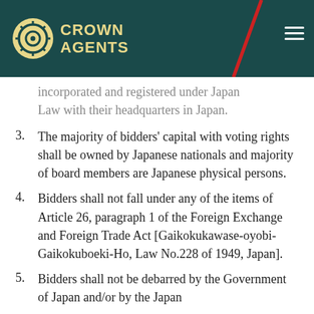Crown Agents
incorporated and registered under Japan Law with their headquarters in Japan.
3. The majority of bidders' capital with voting rights shall be owned by Japanese nationals and majority of board members are Japanese physical persons.
4. Bidders shall not fall under any of the items of Article 26, paragraph 1 of the Foreign Exchange and Foreign Trade Act [Gaikokukawase-oyobi-Gaikokuboeki-Ho, Law No.228 of 1949, Japan].
5. Bidders shall not be debarred by the Government of Japan and/or by the Japan